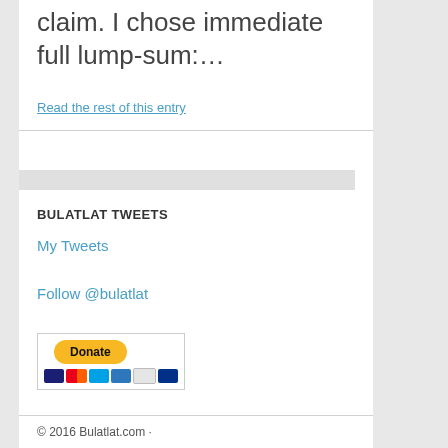claim. I chose immediate full lump-sum:…
Read the rest of this entry
BULATLAT TWEETS
My Tweets
Follow @bulatlat
[Figure (other): PayPal Donate button with credit card icons (Visa, Mastercard, Maestro, AmEx, Discover, JCB)]
© 2016 Bulatlat.com ·